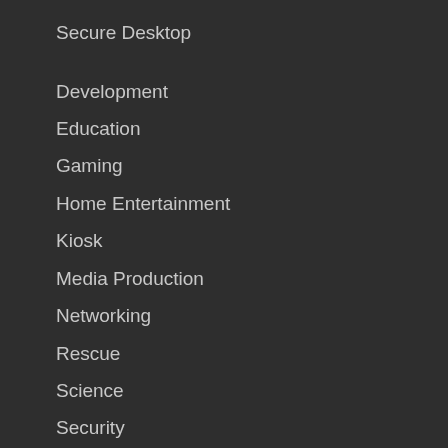Secure Desktop
Development
Education
Gaming
Home Entertainment
Kiosk
Media Production
Networking
Rescue
Science
Security